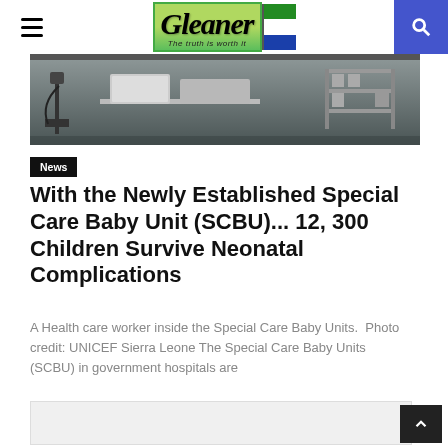Gleaner — The truth is worth it
[Figure (photo): A health care worker inside the Special Care Baby Units — medical equipment visible including incubators and shelving in a hospital setting]
News
With the Newly Established Special Care Baby Unit (SCBU)... 12, 300 Children Survive Neonatal Complications
A Health care worker inside the Special Care Baby Units.  Photo credit: UNICEF Sierra Leone The Special Care Baby Units (SCBU) in government hospitals are